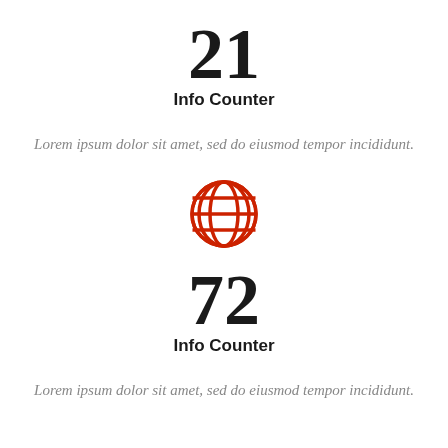21
Info Counter
Lorem ipsum dolor sit amet, sed do eiusmod tempor incididunt.
[Figure (illustration): Red globe/grid icon representing internet or global connectivity]
72
Info Counter
Lorem ipsum dolor sit amet, sed do eiusmod tempor incididunt.